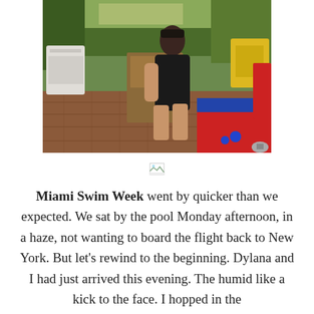[Figure (photo): A woman with dark hair and bangs wearing a black outfit sits on a wooden chair in a garden/patio setting with brick pavement, surrounded by outdoor furniture, trees, and colorful rugs.]
[Figure (other): Small broken image icon placeholder]
Miami Swim Week went by quicker than we expected. We sat by the pool Monday afternoon, in a haze, not wanting to board the flight back to New York. But let’s rewind to the beginning. Dylana and I had just arrived this evening. The humid like a kick to the face. I hopped in the